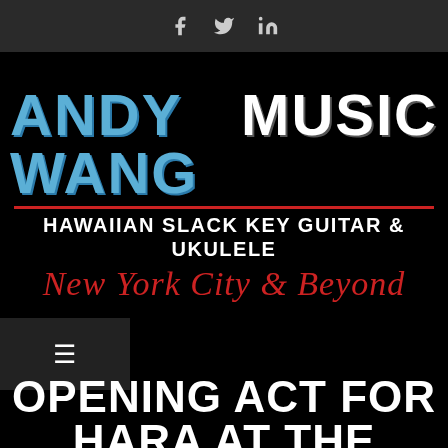Social icons: Facebook, Twitter, LinkedIn
[Figure (logo): Andy Wang Music logo — 'ANDY WANG' in blue distressed block letters, 'MUSIC' in white distressed block letters, red horizontal divider line, 'HAWAIIAN SLACK KEY GUITAR & UKULELE' in white bold caps, 'New York City & Beyond' in red cursive script, all on black background]
[Figure (screenshot): Hamburger menu icon (three horizontal lines) in a dark grey box on left side]
OPENING ACT FOR HARA AT THE